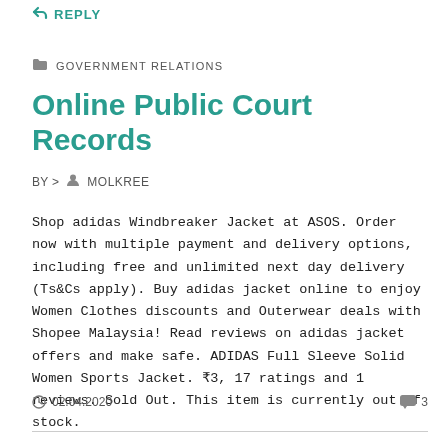REPLY
GOVERNMENT RELATIONS
Online Public Court Records
BY > MOLKREE
Shop adidas Windbreaker Jacket at ASOS. Order now with multiple payment and delivery options, including free and unlimited next day delivery (Ts&Cs apply). Buy adidas jacket online to enjoy Women Clothes discounts and Outerwear deals with Shopee Malaysia! Read reviews on adidas jacket offers and make safe. ADIDAS Full Sleeve Solid Women Sports Jacket. ₹3, 17 ratings and 1 reviews. Sold Out. This item is currently out of stock.
02.04.2020  3